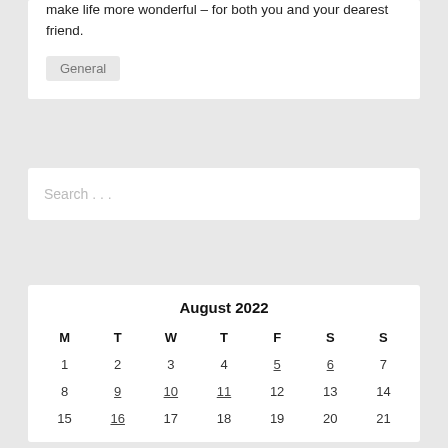make life more wonderful – for both you and your dearest friend.
General
Search . . .
| M | T | W | T | F | S | S |
| --- | --- | --- | --- | --- | --- | --- |
| 1 | 2 | 3 | 4 | 5 | 6 | 7 |
| 8 | 9 | 10 | 11 | 12 | 13 | 14 |
| 15 | 16 | 17 | 18 | 19 | 20 | 21 |